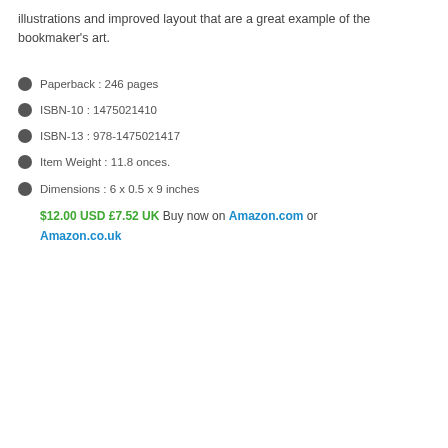illustrations and improved layout that are a great example of the bookmaker's art.
Paperback : 246 pages
ISBN-10 : 1475021410
ISBN-13 : 978-1475021417
Item Weight : 11.8 onces.
Dimensions : 6 x 0.5 x 9 inches
$12.00 USD £7.52 UK Buy now on Amazon.com or Amazon.co.uk